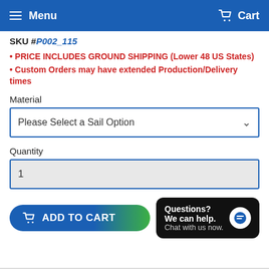Menu   Cart
SKU #P002_115
• PRICE INCLUDES GROUND SHIPPING (Lower 48 US States)
• Custom Orders may have extended Production/Delivery times
Material
Please Select a Sail Option
Quantity
1
ADD TO CART
Questions? We can help. Chat with us now.